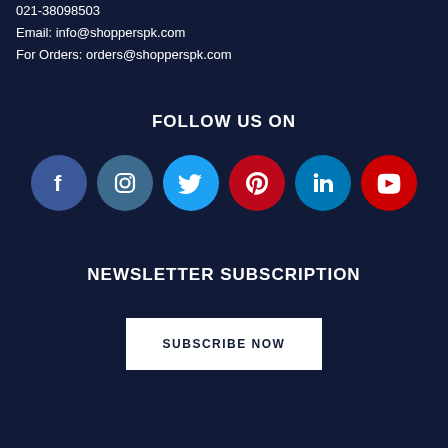021-38098503
Email: info@shopperspk.com
For Orders: orders@shopperspk.com
FOLLOW US ON
[Figure (infographic): Six social media icons in circles: Facebook (blue), Instagram (dark blue-gray), Twitter (light blue), Pinterest (red), LinkedIn (blue), YouTube (red)]
NEWSLETTER SUBSCRIPTION
SUBSCRIBE NOW